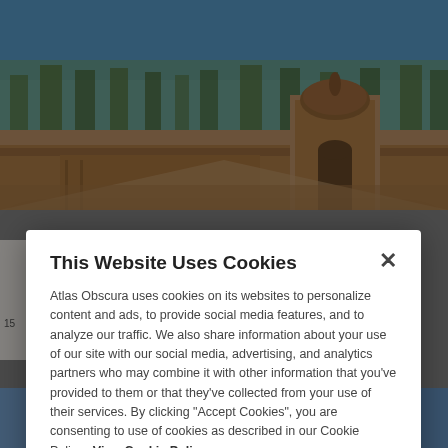[Figure (photo): Outdoor photograph of an ancient Indian monument or fort complex with red sandstone walls and a domed pavilion, blue sky and trees in background.]
This Website Uses Cookies
Atlas Obscura uses cookies on its websites to personalize content and ads, to provide social media features, and to analyze our traffic. We also share information about your use of our site with our social media, advertising, and analytics partners who may combine it with other information that you've provided to them or that they've collected from your use of their services. By clicking "Accept Cookies", you are consenting to use of cookies as described in our Cookie Policy. View Cookie Policy
[Figure (screenshot): Cookie consent modal dialog with Manage Preferences and Allow Cookies buttons over a blurred webpage.]
[Figure (photo): Partial view of a blue promotional banner with cursive text 'are is here' and additional text.]